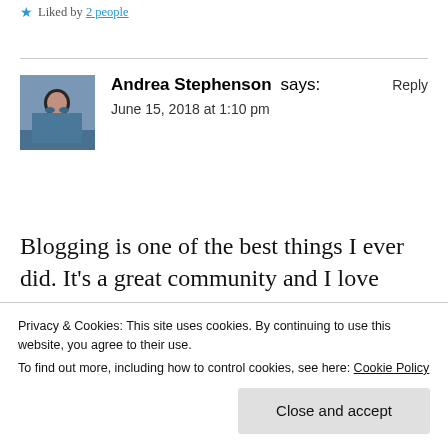★ Liked by 2 people
Andrea Stephenson says:
June 15, 2018 at 1:10 pm
Blogging is one of the best things I ever did. It's a great community and I love writing my blogs which is different to the other writing I
Privacy & Cookies: This site uses cookies. By continuing to use this website, you agree to their use.
To find out more, including how to control cookies, see here: Cookie Policy
Close and accept